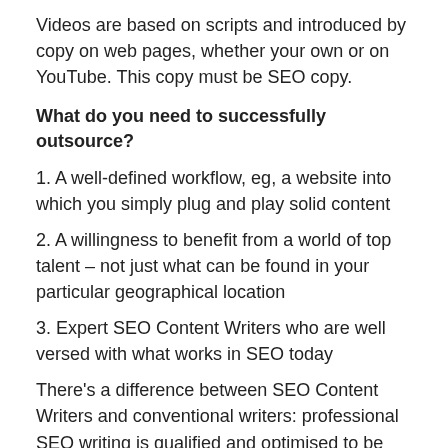Videos are based on scripts and introduced by copy on web pages, whether your own or on YouTube. This copy must be SEO copy.
What do you need to successfully outsource?
1. A well-defined workflow, eg, a website into which you simply plug and play solid content
2. A willingness to benefit from a world of top talent – not just what can be found in your particular geographical location
3. Expert SEO Content Writers who are well versed with what works in SEO today
There's a difference between SEO Content Writers and conventional writers: professional SEO writing is qualified and optimised to be ranked highly by today's search engine algorithms, whereas general writing is not.